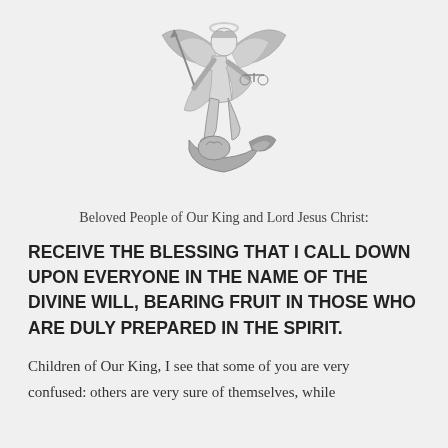[Figure (illustration): Black and white illustration of Saint Michael the Archangel, a winged warrior figure holding a spear and scales, standing over and subduing a defeated demon figure. The angel has a halo and is dressed in classical armor and robes.]
Beloved People of Our King and Lord Jesus Christ:
RECEIVE THE BLESSING THAT I CALL DOWN UPON EVERYONE IN THE NAME OF THE DIVINE WILL, BEARING FRUIT IN THOSE WHO ARE DULY PREPARED IN THE SPIRIT.
Children of Our King, I see that some of you are very confused: others are very sure of themselves, while